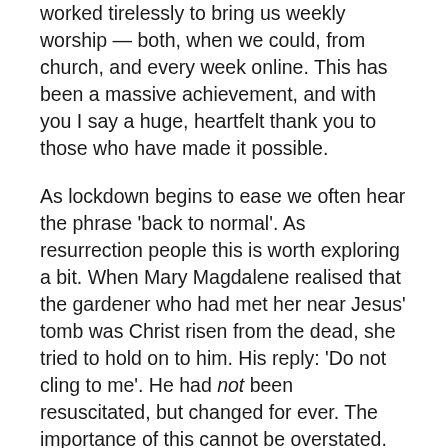worked tirelessly to bring us weekly worship — both, when we could, from church, and every week online. This has been a massive achievement, and with you I say a huge, heartfelt thank you to those who have made it possible.
As lockdown begins to ease we often hear the phrase 'back to normal'. As resurrection people this is worth exploring a bit. When Mary Magdalene realised that the gardener who had met her near Jesus' tomb was Christ risen from the dead, she tried to hold on to him. His reply: 'Do not cling to me'. He had not been resuscitated, but changed for ever. The importance of this cannot be overstated. Jesus lived again, but in a new way. His resurrection body was different from his pre-crucifixion body. Jesus wasn't 'back to normal'.
My sense is that we will discover during the coming weeks that 'back to normal' doesn't quite describe what we're experiencing, or indeed wanting. The most